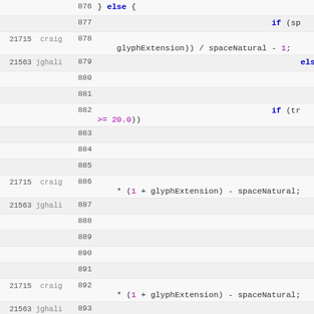[Figure (screenshot): Source code viewer showing lines 876-893 of a code file with revision numbers (21715, 21563) and author names (craig, jghali) in the left margin. The code contains conditional logic with glyphExtension, spaceNatural variables and numeric comparisons.]